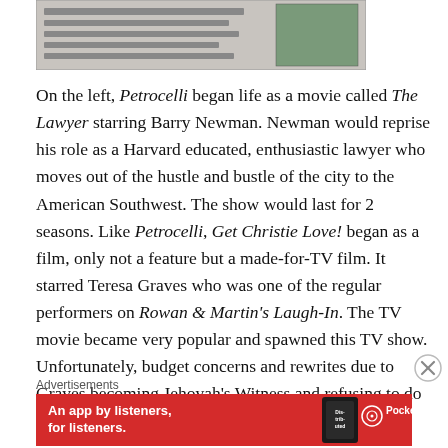[Figure (photo): Partial view of a magazine or book page showing an image and text, cropped.]
On the left, Petrocelli began life as a movie called The Lawyer starring Barry Newman. Newman would reprise his role as a Harvard educated, enthusiastic lawyer who moves out of the hustle and bustle of the city to the American Southwest. The show would last for 2 seasons. Like Petrocelli, Get Christie Love! began as a film, only not a feature but a made-for-TV film. It starred Teresa Graves who was one of the regular performers on Rowan & Martin's Laugh-In. The TV movie became very popular and spawned this TV show. Unfortunately, budget concerns and rewrites due to Graves becoming Jehovah's Witness and refusing to do anything too racy would kill the
Advertisements
[Figure (screenshot): Red advertisement banner for Pocket Casts app: 'An app by listeners, for listeners.' with Pocket Casts logo and a phone image showing 'Distributed' podcast cover.]